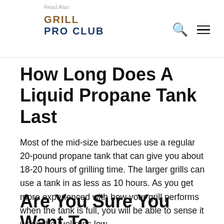GRILL PRO CLUB
How Long Does A Liquid Propane Tank Last
Most of the mid-size barbecues use a regular 20-pound propane tank that can give you about 18-20 hours of grilling time. The larger grills can use a tank in as less as 10 hours. As you get more experienced with how your grill performs when the tank is full, you will be able to sense it when the fuel runs low.
Are You Sure You Want To